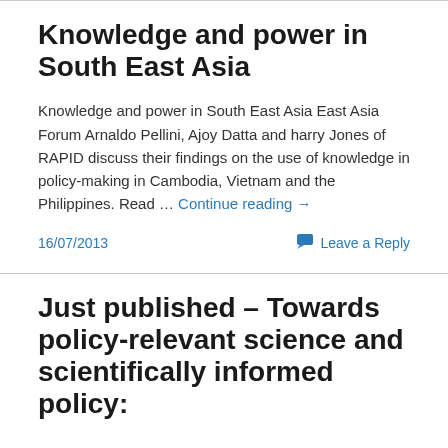Knowledge and power in South East Asia
Knowledge and power in South East Asia East Asia Forum Arnaldo Pellini, Ajoy Datta and harry Jones of RAPID discuss their findings on the use of knowledge in policy-making in Cambodia, Vietnam and the Philippines. Read … Continue reading →
16/07/2013
Leave a Reply
Just published – Towards policy-relevant science and scientifically informed policy: